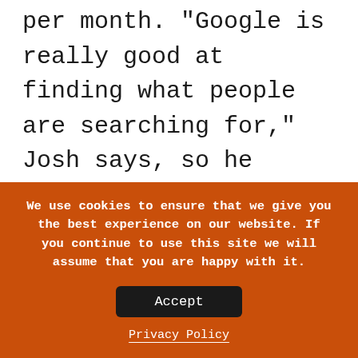per month.  "Google is really good at finding what people are searching for," Josh says, so he focuses less on getting the exact wording right, and more on targeting his audience's specific informational needs.

Josh also likes to increase clicks by building his authority.  By answering questions on forums like Quora, Josh is not only able to point to his site and increase his click rate, but also, to
We use cookies to ensure that we give you the best experience on our website. If you continue to use this site we will assume that you are happy with it.
Accept
Privacy Policy